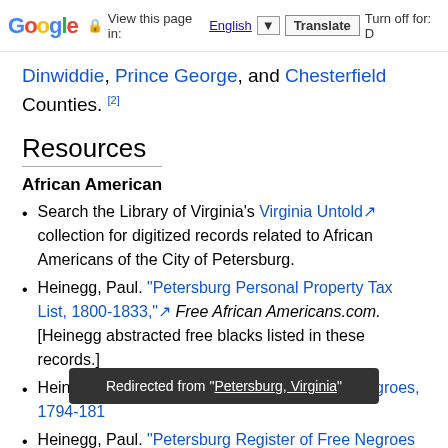Google | View this page in: English | Translate | Turn off for: D
Dinwiddie, Prince George, and Chesterfield Counties. [2]
Resources
African American
Search the Library of Virginia's Virginia Untold collection for digitized records related to African Americans of the City of Petersburg.
Heinegg, Paul. "Petersburg Personal Property Tax List, 1800-1833," Free African Americans.com. [Heinegg abstracted free blacks listed in these records.]
Heinegg, Paul. "Petersburg Register of Free Negroes, 1794-181...
Heinegg, Paul. "Petersburg Register of Free Negroes...
Redirected from "Petersburg, Virginia"